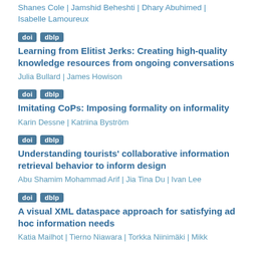Shanes Cole | Jamshid Beheshti | Dhary Abuhimed | Isabelle Lamoureux
doi | dblp
Learning from Elitist Jerks: Creating high-quality knowledge resources from ongoing conversations
Julia Bullard | James Howison
doi | dblp
Imitating CoPs: Imposing formality on informality
Karin Dessne | Katriina Byström
doi | dblp
Understanding tourists' collaborative information retrieval behavior to inform design
Abu Shamim Mohammad Arif | Jia Tina Du | Ivan Lee
doi | dblp
A visual XML dataspace approach for satisfying ad hoc information needs
Katia Mailhot | Tierno Diawara | Torkka Niinimäki | Mikk...